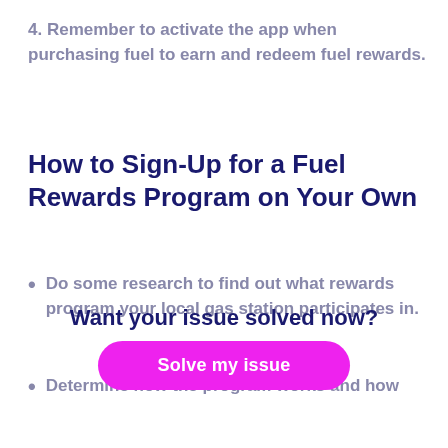4. Remember to activate the app when purchasing fuel to earn and redeem fuel rewards.
How to Sign-Up for a Fuel Rewards Program on Your Own
Do some research to find out what rewards program your local gas station participates in.
Determine how the program works and how
Want your issue solved now?
Solve my issue